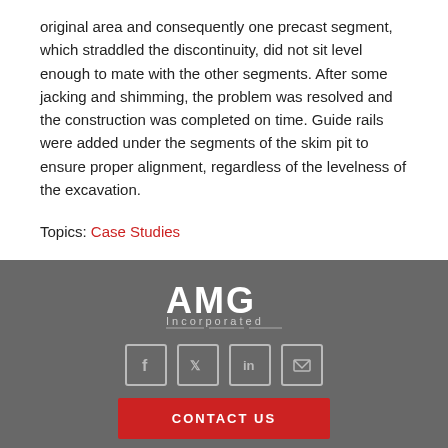original area and consequently one precast segment, which straddled the discontinuity, did not sit level enough to mate with the other segments. After some jacking and shimming, the problem was resolved and the construction was completed on time. Guide rails were added under the segments of the skim pit to ensure proper alignment, regardless of the levelness of the excavation.
Topics: Case Studies
[Figure (logo): AMG Incorporated logo in white text on gray background, with social media icons (Facebook, Twitter, LinkedIn, Email) and a red CONTACT US button]